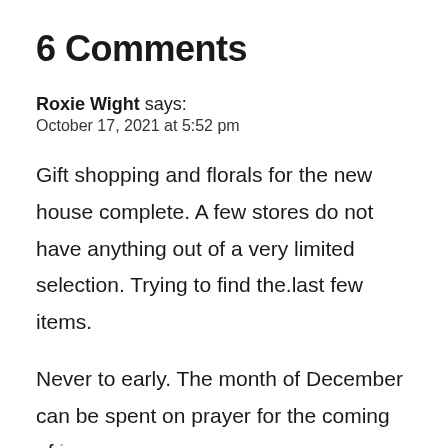6 Comments
Roxie Wight says:
October 17, 2021 at 5:52 pm
Gift shopping and florals for the new house complete. A few stores do not have anything out of a very limited selection. Trying to find the.last few items.
Never to early. The month of December can be spent on prayer for the coming of jesus